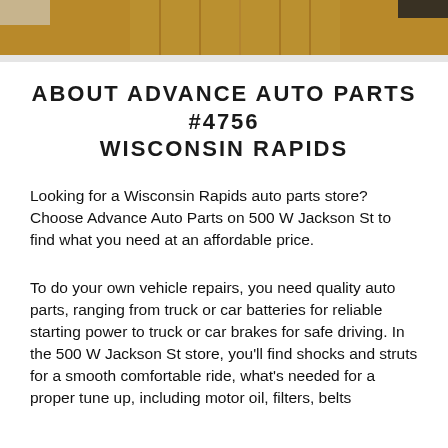[Figure (photo): Partial view of a warehouse or store interior with wooden flooring, top portion visible]
ABOUT ADVANCE AUTO PARTS #4756 WISCONSIN RAPIDS
Looking for a Wisconsin Rapids auto parts store? Choose Advance Auto Parts on 500 W Jackson St to find what you need at an affordable price.
To do your own vehicle repairs, you need quality auto parts, ranging from truck or car batteries for reliable starting power to truck or car brakes for safe driving. In the 500 W Jackson St store, you'll find shocks and struts for a smooth comfortable ride, what's needed for a proper tune up, including motor oil, filters, belts